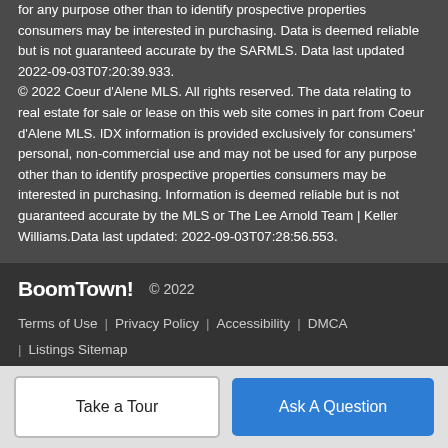for any purpose other than to identify prospective properties consumers may be interested in purchasing. Data is deemed reliable but is not guaranteed accurate by the SARMLS. Data last updated 2022-09-03T07:20:39.933.
© 2022 Coeur d'Alene MLS. All rights reserved. The data relating to real estate for sale or lease on this web site comes in part from Coeur d'Alene MLS. IDX information is provided exclusively for consumers' personal, non-commercial use and may not be used for any purpose other than to identify prospective properties consumers may be interested in purchasing. Information is deemed reliable but is not guaranteed accurate by the MLS or The Lee Arnold Team | Keller Williams.Data last updated: 2022-09-03T07:28:56.553.
BoomTown! © 2022
Terms of Use | Privacy Policy | Accessibility | DMCA | Listings Sitemap
Take a Tour
Ask A Question